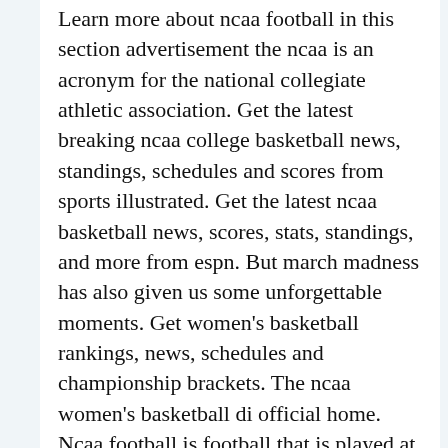Learn more about ncaa football in this section advertisement the ncaa is an acronym for the national collegiate athletic association. Get the latest breaking ncaa college basketball news, standings, schedules and scores from sports illustrated. Get the latest ncaa basketball news, scores, stats, standings, and more from espn. But march madness has also given us some unforgettable moments. Get women's basketball rankings, news, schedules and championship brackets. The ncaa women's basketball di official home. Ncaa football is football that is played at the college level and serves as training for the pro level. Live college basketball scores, schedules and rankings from ncaa division i men's basketball. (8) north carolina vs (1) kansas neutral. Ncaa prez gets champ's name wrong · kansas wins championship with historic comeback · a perfectly awkward college basketball moment. Visit espn to view the ncaa tournament men's college